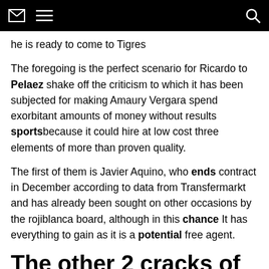[navigation bar with envelope, menu, and search icons]
he is ready to come to Tigres
The foregoing is the perfect scenario for Ricardo to Pelaez shake off the criticism to which it has been subjected for making Amaury Vergara spend exorbitant amounts of money without results sportsbecause it could hire at low cost three elements of more than proven quality.
The first of them is Javier Aquino, who ends contract in December according to data from Transfermarkt and has already been sought on other occasions by the rojiblanca board, although in this chance It has everything to gain as it is a potential free agent.
The other 2 cracks of Tigres
The other two elements are Raymundo Fulgencio who ends his contract this summer and is urgent to show his quality and Hugo Ayala, who has received the contempt of Miguel Herrera, they do not count on him in Tigres and I